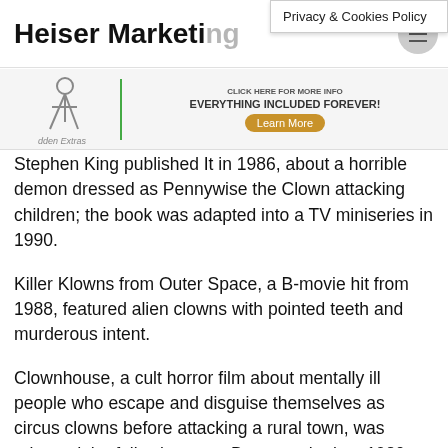Heiser Marketing
Privacy & Cookies Policy
[Figure (other): Partial advertisement banner showing a cartoon figure with text 'dden Extras' and a promotional message 'EVERYTHING INCLUDED FOREVER!' with a 'Learn More' button]
Stephen King published It in 1986, about a horrible demon dressed as Pennywise the Clown attacking children; the book was adapted into a TV miniseries in 1990.
Killer Klowns from Outer Space, a B-movie hit from 1988, featured alien clowns with pointed teeth and murderous intent.
Clownhouse, a cult horror film about mentally ill people who escape and disguise themselves as circus clowns before attacking a rural town, was released the following year. Between the late 1980s and now, when the Saw franchise's logo is a scary doll with a clown face, scores of films starring